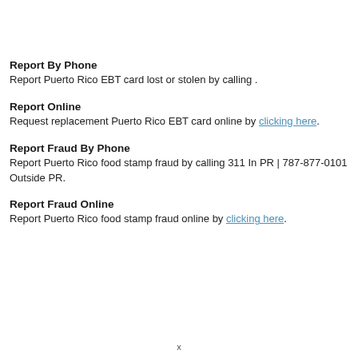Report By Phone
Report Puerto Rico EBT card lost or stolen by calling .
Report Online
Request replacement Puerto Rico EBT card online by clicking here.
Report Fraud By Phone
Report Puerto Rico food stamp fraud by calling 311 In PR | 787-877-0101 Outside PR.
Report Fraud Online
Report Puerto Rico food stamp fraud online by clicking here.